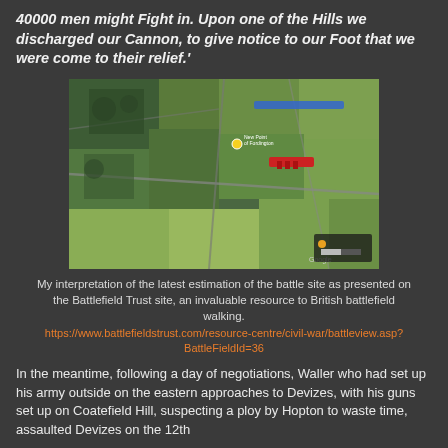40000 men might Fight in. Upon one of the Hills we discharged our Cannon, to give notice to our Foot that we were come to their relief.'
[Figure (map): Aerial/satellite map showing the battle site near Devizes, with red and blue markers indicating troop positions, from Google Maps / Battlefield Trust]
My interpretation of the latest estimation of the battle site as presented on the Battlefield Trust site, an invaluable resource to British battlefield walking.
https://www.battlefieldstrust.com/resource-centre/civil-war/battleview.asp?BattleFieldId=36
In the meantime, following a day of negotiations, Waller who had set up his army outside on the eastern approaches to Devizes, with his guns set up on Coatefield Hill, suspecting a ploy by Hopton to waste time, assaulted Devizes on the 12th